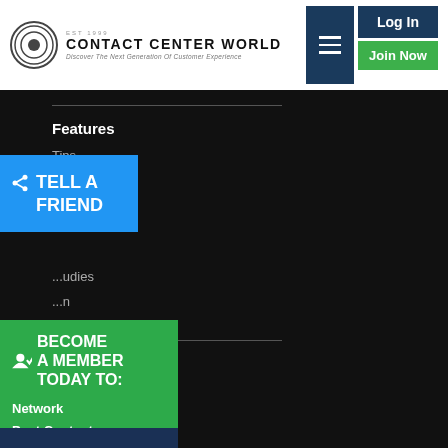[Figure (logo): Contact Center World logo with circular emblem and tagline 'Discover The Next Generation Of Customer Experience']
[Figure (screenshot): Navigation hamburger menu icon button (dark navy)]
Log In
Join Now
Features
Tips
News
...udies
...n
Benchmarking
Buyers Guide
...ng Academy
...Work
...icial
...erence
...erence
...Conference
...nference
[Figure (infographic): Blue 'TELL A FRIEND' share button overlay on left side]
[Figure (infographic): Green 'BECOME A MEMBER TODAY TO:' panel with Network, Post Content, Enter Awards, + Much More]